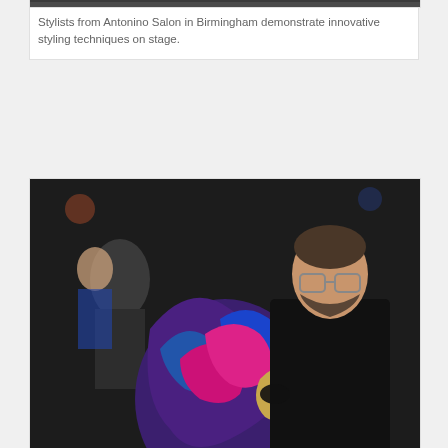[Figure (photo): Partial view of a photo showing stylists from Antonino Salon on stage, cropped at top of page]
Stylists from Antonino Salon in Birmingham demonstrate innovative styling techniques on stage.
[Figure (photo): A man in black clothing works on a person's colorful blue and pink styled hair on stage in a dark venue]
Stylists from Antonino Salon in Birmingham demonstrate innovative styling techniques on stage.
[Figure (photo): Person with dramatic colorful teal and purple spiked hair being styled, with people around them in a dark venue]